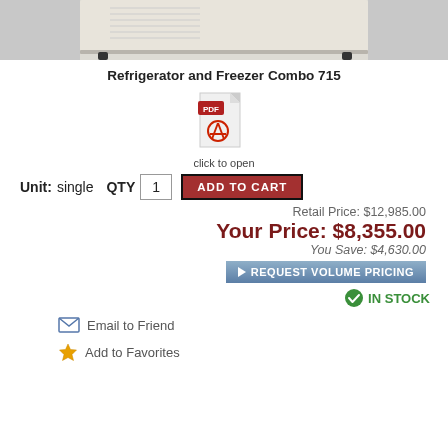[Figure (photo): Partial photo of a beige refrigerator/freezer combo unit, showing the top portion with ventilation grilles and black feet]
Refrigerator and Freezer Combo 715
[Figure (illustration): PDF icon with red acrobat logo and 'PDF' badge on a document page, with text 'click to open' below]
Unit: single  QTY  1  ADD TO CART
Retail Price: $12,985.00
Your Price: $8,355.00
You Save: $4,630.00
REQUEST VOLUME PRICING
IN STOCK
Email to Friend
Add to Favorites